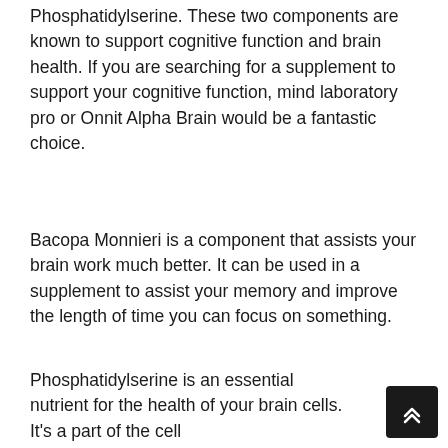Phosphatidylserine. These two components are known to support cognitive function and brain health. If you are searching for a supplement to support your cognitive function, mind laboratory pro or Onnit Alpha Brain would be a fantastic choice.
Bacopa Monnieri is a component that assists your brain work much better. It can be used in a supplement to assist your memory and improve the length of time you can focus on something.
Phosphatidylserine is an essential nutrient for the health of your brain cells. It's a part of the cell